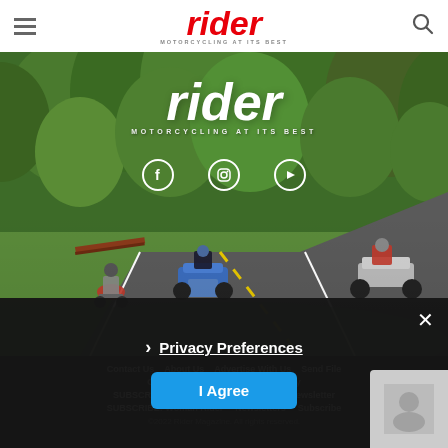rider MOTORCYCLING AT ITS BEST
[Figure (photo): Hero banner photo showing motorcyclists riding on a winding road through a lush green forested area. Two riders visible on the left, one in the center on a blue vintage-style motorcycle, and one on the right on a sport bike. The Rider magazine logo and social media icons (Facebook, Instagram, YouTube) are overlaid on the image.]
Contact Us  About Us  Advertise With Us  Send File  Customer Service  Privacy Policy  SUBSCRIBE: Magazine  SUBSCRIBE: Enewsletter  SUBSCRIBE: Woman Rider  Newsletters  Subscribe  ©2022 Rider Magazine. All rights reserved.
Privacy Preferences
I Agree